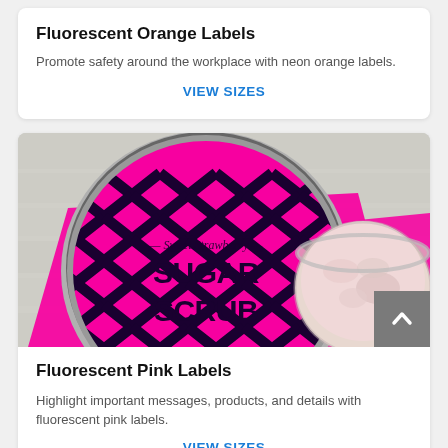Fluorescent Orange Labels
Promote safety around the workplace with neon orange labels.
VIEW SIZES
[Figure (photo): Photo of a tin with a fluorescent pink label reading 'Sweet Strawberry Sugar Scrub' with black chevron pattern, alongside a glass jar of pink sugar scrub on a white wood surface with pink fluorescent label background.]
Fluorescent Pink Labels
Highlight important messages, products, and details with fluorescent pink labels.
VIEW SIZES